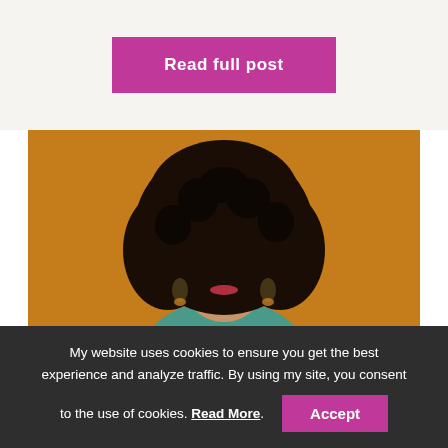Read full post
[Figure (photo): A smiling woman with a large natural afro hairstyle, wearing dangling earrings and a teal top, photographed against an amber/golden-orange background.]
My website uses cookies to ensure you get the best experience and analyze traffic. By using my site, you consent to the use of cookies. Read More. Accept